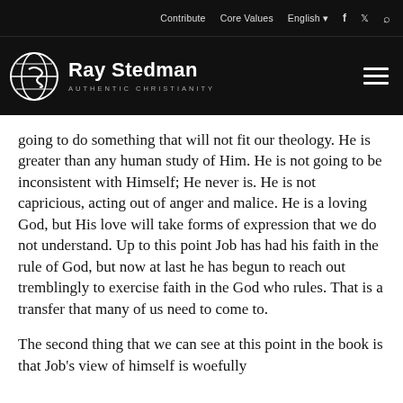Contribute   Core Values   English   f   Twitter   Search
Ray Stedman AUTHENTIC CHRISTIANITY
going to do something that will not fit our theology. He is greater than any human study of Him. He is not going to be inconsistent with Himself; He never is. He is not capricious, acting out of anger and malice. He is a loving God, but His love will take forms of expression that we do not understand. Up to this point Job has had his faith in the rule of God, but now at last he has begun to reach out tremblingly to exercise faith in the God who rules. That is a transfer that many of us need to come to.
The second thing that we can see at this point in the book is that Job's view of himself is woefully